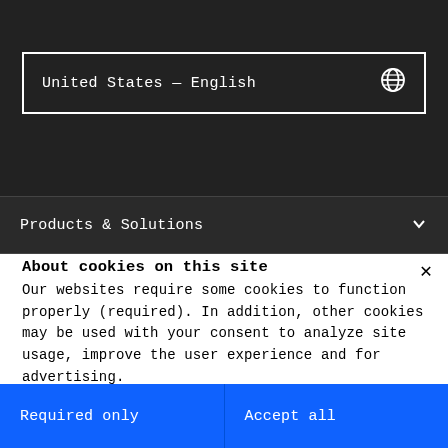United States — English
Products & Solutions
About cookies on this site
Our websites require some cookies to function properly (required). In addition, other cookies may be used with your consent to analyze site usage, improve the user experience and for advertising.
For more information, please review your Cookie preferences options and IBM's privacy statement.
Required only
Accept all